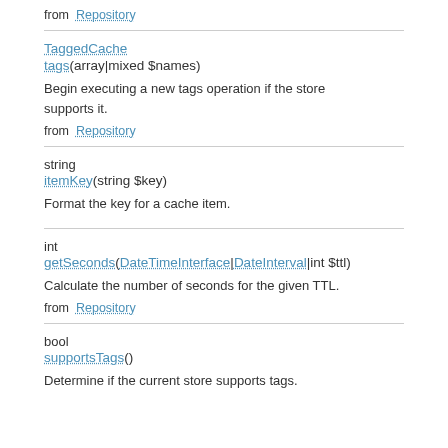from  Repository
TaggedCache
tags(array|mixed $names)
Begin executing a new tags operation if the store supports it.
from  Repository
string
itemKey(string $key)
Format the key for a cache item.
int
getSeconds(DateTimeInterface|DateInterval|int $ttl)
Calculate the number of seconds for the given TTL.
from  Repository
bool
supportsTags()
Determine if the current store supports tags.